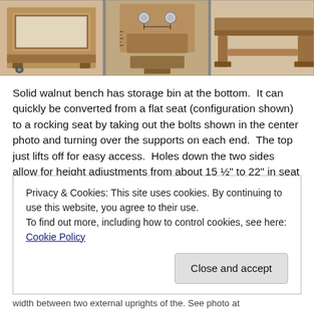[Figure (photo): Three photos of a solid walnut bench showing storage bin, bolts in center, and side profile views]
Solid walnut bench has storage bin at the bottom.  It can quickly be converted from a flat seat (configuration shown) to a rocking seat by taking out the bolts shown in the center photo and turning over the supports on each end.  The top just lifts off for easy access.  Holes down the two sides allow for height adjustments from about 15 ½" to 22" in seat height, using the same 4 bolts. Seat width between the uprights is 25" and overall
Privacy & Cookies: This site uses cookies. By continuing to use this website, you agree to their use.
To find out more, including how to control cookies, see here: Cookie Policy
Close and accept
width between two external uprights of the. See photo at